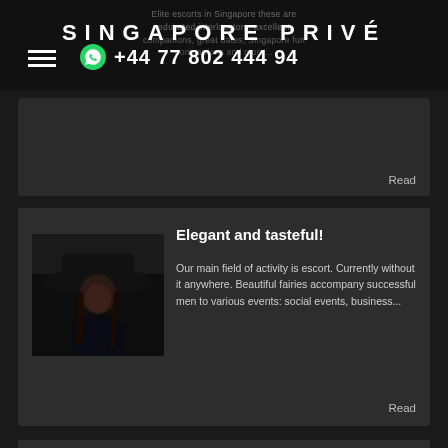SINGAPORE PRIVÉ
Elite escorts in Singapore these are educated interlocutors, excellent
+44 77 802 444 94
Read
Elegant and tasteful!
Our main field of activity is escort. Currently without it anywhere. Beautiful fairies accompany successful men to various events: social events, business...
Read
Marina Bay in Singapore
[Figure (photo): Woman in dark clothing with wide-brimmed hat in dim lighting]
[Figure (photo): Marina Bay Singapore thumbnail]